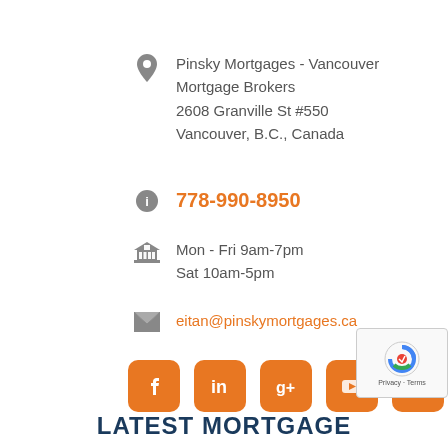Pinsky Mortgages - Vancouver Mortgage Brokers
2608 Granville St #550
Vancouver, B.C., Canada
778-990-8950
Mon - Fri 9am-7pm
Sat 10am-5pm
eitan@pinskymortgages.ca
[Figure (infographic): Row of 5 orange rounded square social media icons: Facebook, LinkedIn, Google+, YouTube, Twitter]
LATEST MORTGAGE